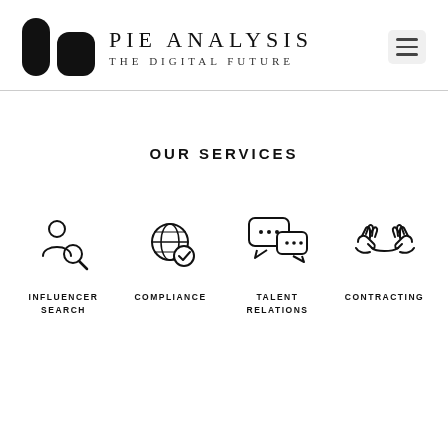[Figure (logo): Pie Analysis logo with two pill shapes and brand name]
OUR SERVICES
[Figure (infographic): Four service icons: Influencer Search (person with magnifying glass), Compliance (globe with checkmark), Talent Relations (chat bubbles), Contracting (handshake)]
INFLUENCER SEARCH
COMPLIANCE
TALENT RELATIONS
CONTRACTING